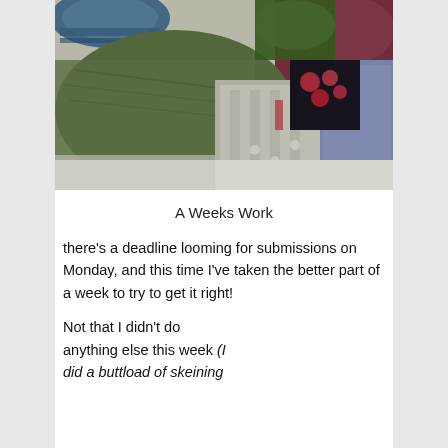[Figure (photo): A pile of colorful knitted and crocheted textile works including green, gray, purple, and dark pieces with floral accents arranged on a surface.]
A Weeks Work
there's a deadline looming for submissions on Monday, and this time I've taken the better part of a week to try to get it right!
Not that I didn't do anything else this week (I did a buttload of skeining